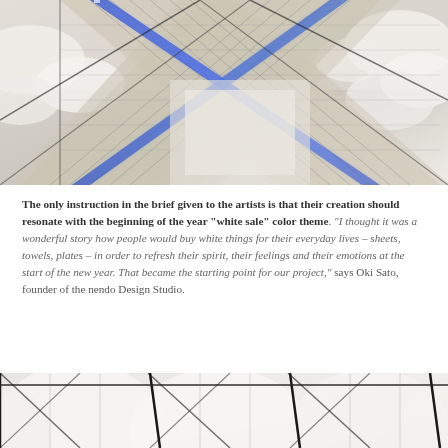[Figure (photo): Aerial view of a large shopping mall interior with crossing escalators featuring blue neon lighting, white ceiling panels, and a grid-like structure]
The only instruction in the brief given to the artists is that their creation should resonate with the beginning of the year "white sale" color theme. "I thought it was a wonderful story how people would buy white things for their everyday lives – sheets, towels, plates – in order to refresh their spirit, their feelings and their emotions at the start of the new year. That became the starting point for our project," says Oki Sato, founder of the nendo Design Studio.
[Figure (photo): Close-up view of white balloon-like ceiling installation with black grid lines visible from below]